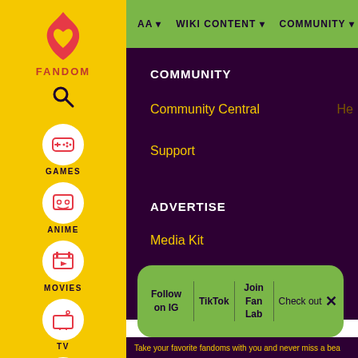[Figure (logo): Fandom logo - pink flame with heart, yellow background sidebar]
FANDOM
GAMES
ANIME
MOVIES
TV
VIDEO
AA  WIKI CONTENT  COMMUNITY
COMMUNITY
Community Central
Support
ADVERTISE
Media Kit
Fandomatic
Contact
Follow on IG  |  TikTok  |  Join Fan Lab  |  Check out Fandom Quizzes and cha  ×
Take your favorite fandoms with you and never miss a bea